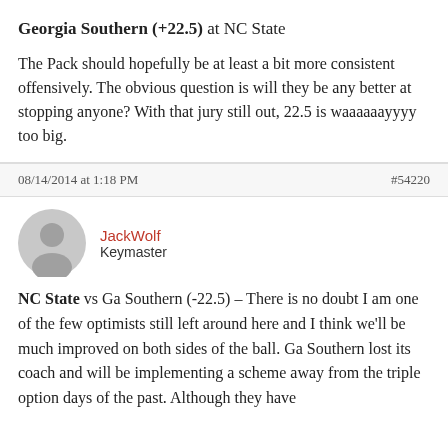Georgia Southern (+22.5) at NC State
The Pack should hopefully be at least a bit more consistent offensively. The obvious question is will they be any better at stopping anyone? With that jury still out, 22.5 is waaaaaayyyy too big.
08/14/2014 at 1:18 PM
#54220
JackWolf
Keymaster
NC State vs Ga Southern (-22.5) – There is no doubt I am one of the few optimists still left around here and I think we'll be much improved on both sides of the ball. Ga Southern lost its coach and will be implementing a scheme away from the triple option days of the past. Although they have